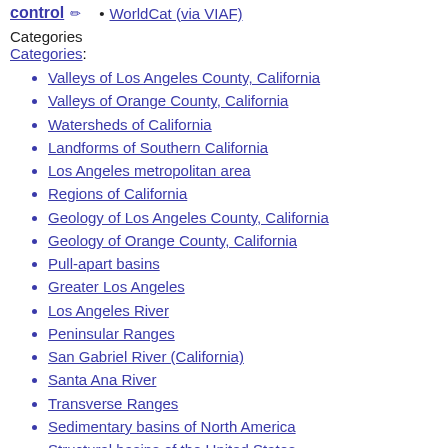control ✏ • WorldCat (via VIAF)
Categories
Categories:
Valleys of Los Angeles County, California
Valleys of Orange County, California
Watersheds of California
Landforms of Southern California
Los Angeles metropolitan area
Regions of California
Geology of Los Angeles County, California
Geology of Orange County, California
Pull-apart basins
Greater Los Angeles
Los Angeles River
Peninsular Ranges
San Gabriel River (California)
Santa Ana River
Transverse Ranges
Sedimentary basins of North America
Structural basins of the United States
Valleys of California
Watersheds of the West Coast (U.S.)